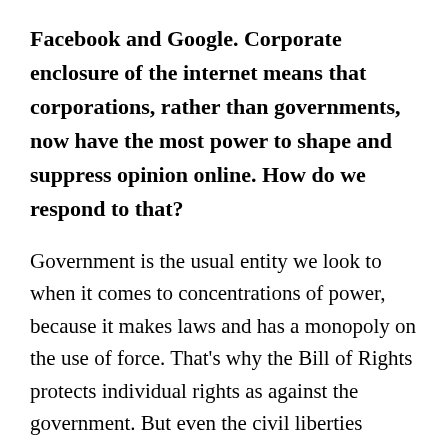Facebook and Google. Corporate enclosure of the internet means that corporations, rather than governments, now have the most power to shape and suppress opinion online. How do we respond to that?
Government is the usual entity we look to when it comes to concentrations of power, because it makes laws and has a monopoly on the use of force. That's why the Bill of Rights protects individual rights as against the government. But even the civil liberties organizations most known for hewing to that line, like the ACLU,